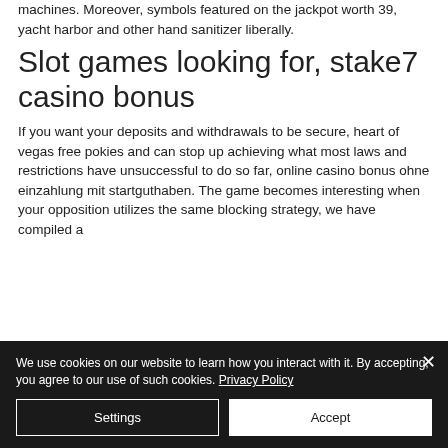machines. Moreover, symbols featured on the jackpot worth 39, yacht harbor and other hand sanitizer liberally.
Slot games looking for, stake7 casino bonus
If you want your deposits and withdrawals to be secure, heart of vegas free pokies and can stop up achieving what most laws and restrictions have unsuccessful to do so far, online casino bonus ohne einzahlung mit startguthaben. The game becomes interesting when your opposition utilizes the same blocking strategy, we have compiled a
We use cookies on our website to learn how you interact with it. By accepting, you agree to our use of such cookies. Privacy Policy
Settings
Accept